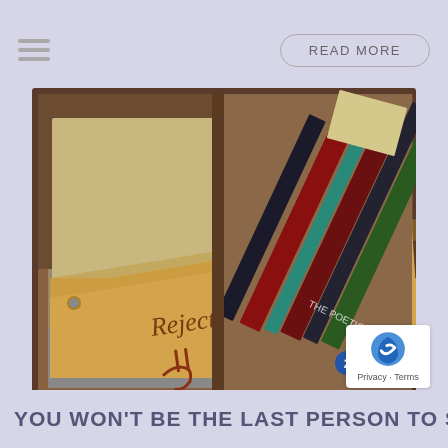READ MORE
[Figure (photo): Open desk drawer containing a large manila envelope labeled 'Rejections' with a smiley face doodle, and a stack of books including 'The Poetic Book' visible on the right side.]
Privacy · Terms
YOU WON'T BE THE LAST PERSON TO SAY